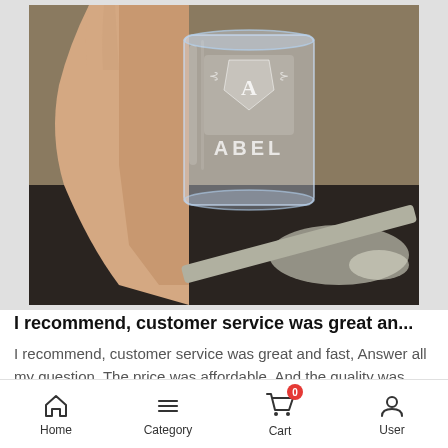[Figure (photo): A hand holding a personalized glass tumbler with engraved crest design and text 'ABEL', photographed against a table surface with soft lighting.]
I recommend, customer service was great an...
I recommend, customer service was great and fast, Answer all my question. The price was affordable. And the quality was...
Home   Category   Cart   User